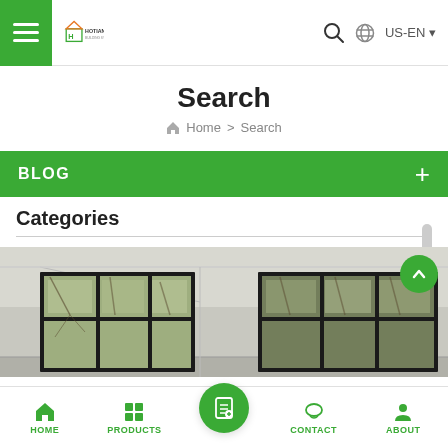HOTIAN | US-EN
Search
Home > Search
BLOG
Categories
[Figure (photo): Interior room photo showing black steel-framed windows with multiple panes looking out to trees]
HOME | PRODUCTS | CONTACT | ABOUT